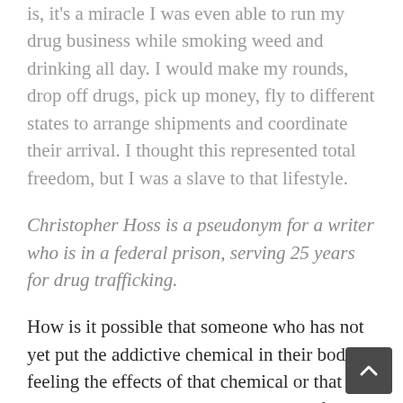is, it's a miracle I was even able to run my drug business while smoking weed and drinking all day. I would make my rounds, drop off drugs, pick up money, fly to different states to arrange shipments and coordinate their arrival. I thought this represented total freedom, but I was a slave to that lifestyle.
Christopher Hoss is a pseudonym for a writer who is in a federal prison, serving 25 years for drug trafficking.
How is it possible that someone who has not yet put the addictive chemical in their body is feeling the effects of that chemical or that the dealer becomes more addicted to the lifestyle than some of their clients are to the drug itself? The answer is that some of the addictive chemicals have already been released by their own brain without using the drug. In fact, in some cases people are more addicted to the chemicals released by their brain than by a chemical artificially inserted in